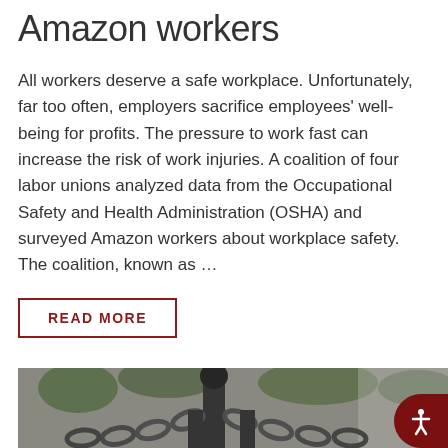Amazon workers
All workers deserve a safe workplace. Unfortunately, far too often, employers sacrifice employees' well-being for profits. The pressure to work fast can increase the risk of work injuries. A coalition of four labor unions analyzed data from the Occupational Safety and Health Administration (OSHA) and surveyed Amazon workers about workplace safety. The coalition, known as …
READ MORE
[Figure (photo): Close-up photograph of heavy metal chains attached to a dark iron post or bollard, with blurred green foliage in the background.]